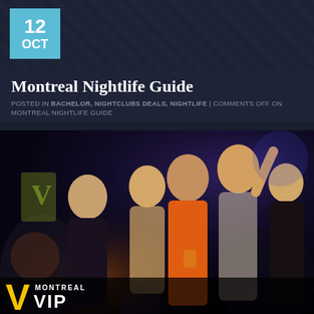12 OCT
Montreal Nightlife Guide
POSTED IN BACHELOR, NIGHTCLUBS DEALS, NIGHTLIFE | COMMENTS OFF ON MONTREAL NIGHTLIFE GUIDE
[Figure (photo): Nightclub scene with group of young women posing and dancing, nightclub lighting in background, Montreal VIP logo visible at bottom]
MONTREAL VIP